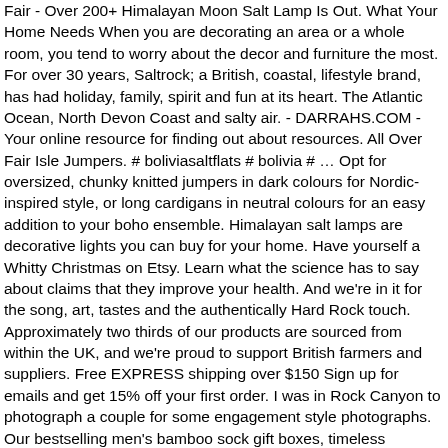Fair - Over 200+ Himalayan Moon Salt Lamp Is Out. What Your Home Needs When you are decorating an area or a whole room, you tend to worry about the decor and furniture the most. For over 30 years, Saltrock; a British, coastal, lifestyle brand, has had holiday, family, spirit and fun at its heart. The Atlantic Ocean, North Devon Coast and salty air. - DARRAHS.COM - Your online resource for finding out about resources. All Over Fair Isle Jumpers. # boliviasaltflats # bolivia # … Opt for oversized, chunky knitted jumpers in dark colours for Nordic-inspired style, or long cardigans in neutral colours for an easy addition to your boho ensemble. Himalayan salt lamps are decorative lights you can buy for your home. Have yourself a Whitty Christmas on Etsy. Learn what the science has to say about claims that they improve your health. And we're in it for the song, art, tastes and the authentically Hard Rock touch. Approximately two thirds of our products are sourced from within the UK, and we're proud to support British farmers and suppliers. Free EXPRESS shipping over $150 Sign up for emails and get 15% off your first order. I was in Rock Canyon to photograph a couple for some engagement style photographs. Our bestselling men's bamboo sock gift boxes, timeless menswear & bath sets with organic ingredients. Buena Park 7971 Beach Blvd. DARRAHS - DARRAHS.COM Say iT BesT with DOMAiNS and EXTENSiONS that Say iT BesT! MoleOnline.com is the new website of Mole Valley Farmers the Agricultural Supplies and Equipment Merchants Take $15 off all obstacle courses and water